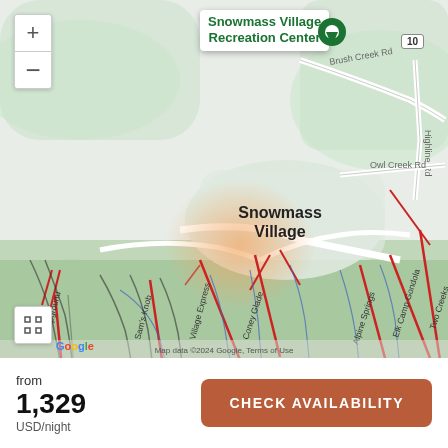[Figure (map): Google Maps view of Snowmass Village area showing ski lifts (red lines), trails (blue and dark lines), roads (Brush Creek Rd, Owl Creek Rd, Highline Rd), and location pin for Snowmass Village Recreation Center. Lift labels visible: Campground, Sam's Knob, Village Express, Coney Glade, Alpine Springs, Elk Camp Gondola, Two Creeks. Orange glow overlay near village center. Map controls: zoom +/-, fullscreen button, Google logo.]
from
1,329
USD/night
CHECK AVAILABILITY